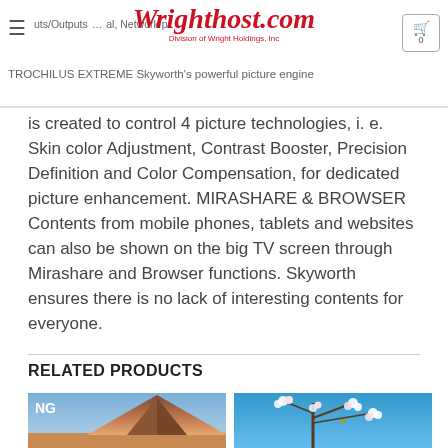≡ …uts/Outputs … al. Network … | Wrighthost.com Division of Wright Holdings, Inc | 0
TROCHILUS EXTREME Skyworth's powerful picture engine is created to control 4 picture technologies, i. e. Skin color Adjustment, Contrast Booster, Precision Definition and Color Compensation, for dedicated picture enhancement. MIRASHARE & BROWSER Contents from mobile phones, tablets and websites can also be shown on the big TV screen through Mirashare and Browser functions. Skyworth ensures there is no lack of interesting contents for everyone.
RELATED PRODUCTS
[Figure (photo): Product image showing a mountain landscape with text 'NG' overlay]
[Figure (photo): Product image showing white cherry blossoms against a blue sky]